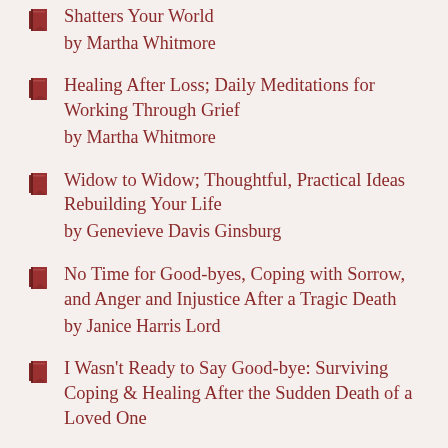Shatters Your World by Martha Whitmore
Healing After Loss; Daily Meditations for Working Through Grief by Martha Whitmore
Widow to Widow; Thoughtful, Practical Ideas Rebuilding Your Life by Genevieve Davis Ginsburg
No Time for Good-byes, Coping with Sorrow, and Anger and Injustice After a Tragic Death by Janice Harris Lord
I Wasn't Ready to Say Good-bye: Surviving Coping & Healing After the Sudden Death of a Loved One